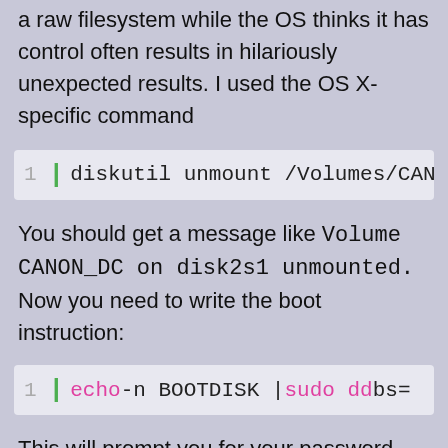a raw filesystem while the OS thinks it has control often results in hilariously unexpected results. I used the OS X-specific command
1 | diskutil unmount /Volumes/CANO
You should get a message like Volume CANON_DC on disk2s1 unmounted. Now you need to write the boot instruction:
1 | echo -n BOOTDISK | sudo dd bs=
This will prompt you for your password.
If you ...